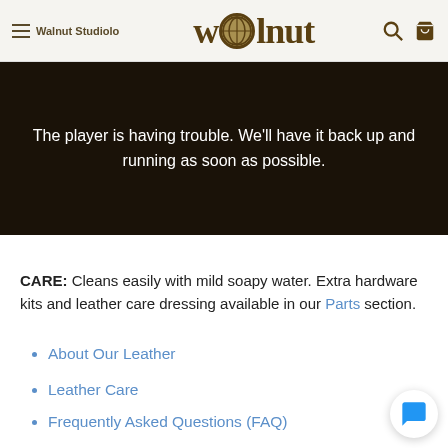Walnut Studiolo — welnut (logo)
[Figure (screenshot): Video player error banner: dark background with white text reading 'The player is having trouble. We'll have it back up and running as soon as possible.']
CARE: Cleans easily with mild soapy water. Extra hardware kits and leather care dressing available in our Parts section.
About Our Leather
Leather Care
Frequently Asked Questions (FAQ)
Turnaround Time